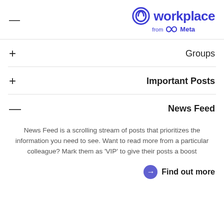Workplace from Meta
+ Groups
+ Important Posts
− News Feed
News Feed is a scrolling stream of posts that prioritizes the information you need to see. Want to read more from a particular colleague? Mark them as 'VIP' to give their posts a boost
Find out more